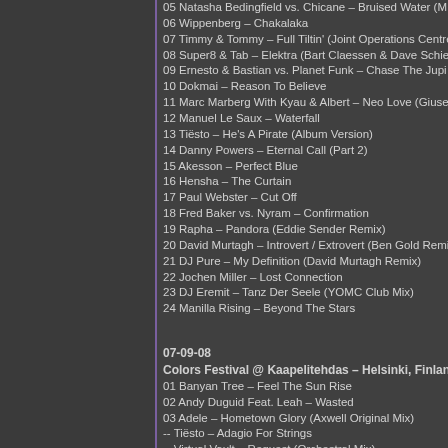05 Natasha Bedingfield vs. Chicane – Bruised Water (M…
06 Wippenberg – Chakalaka
07 Timmy & Tommy – Full Tiltin' (Joint Operations Centre…
08 Super8 & Tab – Elektra (Bart Claessen & Dave Schi…
09 Ernesto & Bastian vs. Planet Funk – Chase The Jupi…
10 Dokmai – Reason To Believe
11 Marc Marberg With Kyau & Albert – Neo Love (Giuse…
12 Manuel Le Saux – Waterfall
13 Tiësto – He's A Pirate (Album Version)
14 Danny Powers – Eternal Call (Part 2)
15 Akesson – Perfect Blue
16 Hensha – The Curtain
17 Paul Webster – Cut Off
18 Fred Baker vs. Nyram – Confirmation
19 Rapha – Pandora (Eddie Sender Remix)
20 David Murtagh – Introvert / Extrovert (Ben Gold Remi…
21 DJ Pure – My Definition (David Murtagh Remix)
22 Jochen Miller – Lost Connection
23 DJ Eremit – Tanz Der Seele (YOMC Club Mix)
24 Manilla Rising – Beyond The Stars
07-09-08
Colors Festival @ Kaapelitehdas – Helsinki, Finland
01 Banyan Tree – Feel The Sun Rise
02 Andy Duguid Feat. Leah – Wasted
03 Adele – Hometown Glory (Axwell Original Mix)
-- Tiësto – Adagio For Strings
-- Virtual Vault – Request (Orchestral Mix)
-- Super8 & Tab – Elektra (Bart Claessen & Dave Schier…
-- Ernesto & Bastian vs. Planet Funk – Chase The Jupiter…
-- Art Of Trance – Madagascar (Richard Durand Remix…